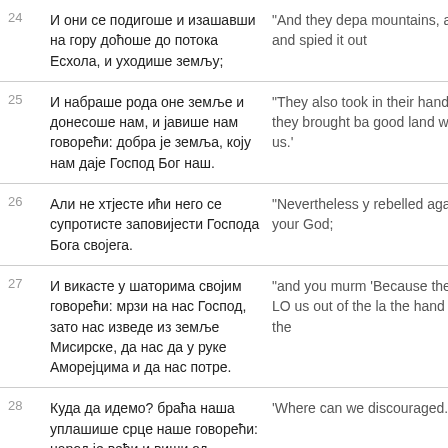| # | Serbian | English |
| --- | --- | --- |
| 24 | И они се подигоше и изашавши на гору доћоше до потока Есхола, и уходише земљу; | "And they depa mountains, and and spied it out |
| 25 | И набраше рода оне земље и донесоше нам, и јавише нам говорећи: добра је земља, коју нам даје Господ Бог наш. | "They also took in their hands a they brought ba good land whic us.' |
| 26 | Али не хтјесте ићи него се супротисте заповијести Господа Бога својега. | "Nevertheless y rebelled agains your God; |
| 27 | И викасте у шаторима својим говорећи: мрзи на нас Господ, зато нас изведе из земље Мисирске, да нас да у руке Аморејцима и да нас потре. | "and you murm 'Because the LO us out of the la the hand of the |
| 28 | Куда да идемо? браћа наша уплашише срце наше говорећи: народ је већи и виши од... | 'Where can we discouraged... |